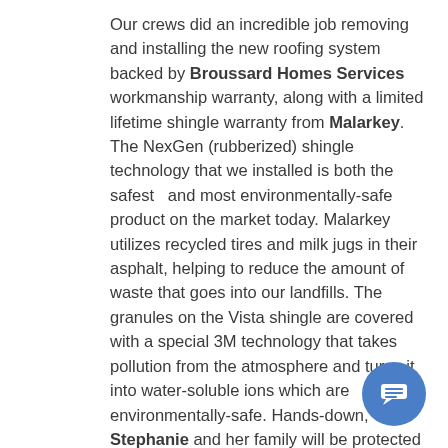Our crews did an incredible job removing and installing the new roofing system backed by Broussard Homes Services workmanship warranty, along with a limited lifetime shingle warranty from Malarkey. The NexGen (rubberized) shingle technology that we installed is both the safest  and most environmentally-safe product on the market today. Malarkey utilizes recycled tires and milk jugs in their asphalt, helping to reduce the amount of waste that goes into our landfills. The granules on the Vista shingle are covered with a special 3M technology that takes pollution from the atmosphere and turns it into water-soluble ions which are environmentally-safe. Hands-down, Stephanie and her family will be protected for decades by the premium installation and craftsmanship of the Broussard Family and the leading technology of Malarkey roofing products.
[Figure (other): Blue circular chat button icon with white speech bubble / message lines icon]